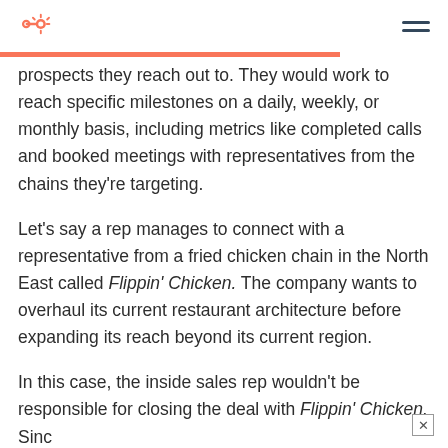HubSpot logo and navigation menu
prospects they reach out to. They would work to reach specific milestones on a daily, weekly, or monthly basis, including metrics like completed calls and booked meetings with representatives from the chains they're targeting.
Let's say a rep manages to connect with a representative from a fried chicken chain in the North East called Flippin' Chicken. The company wants to overhaul its current restaurant architecture before expanding its reach beyond its current region.
In this case, the inside sales rep wouldn't be responsible for closing the deal with Flippin' Chicken. Sinc